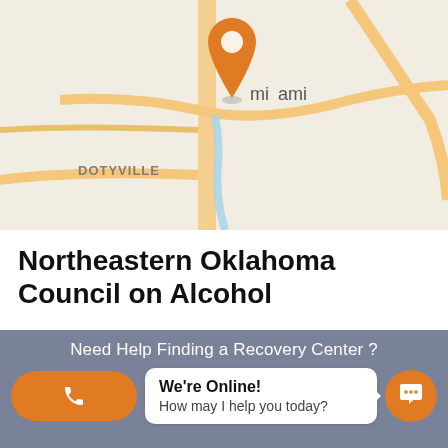[Figure (map): Map showing Miami, Oklahoma area with pin marker. Shows roads, I-44 highway marker, DOTYVILLE label, and a blue river/creek. Orange location pin placed over Miami label.]
Northeastern Oklahoma Council on Alcohol
48.43 miles away from the center of Sentinel, Oklahoma
[Figure (other): Five gray star rating icons]
Need Help Finding a Recovery Center ?
[Figure (other): Orange call button with phone icon, white chat bubble showing "We're Online! How may I help you today?", and orange chat icon button]